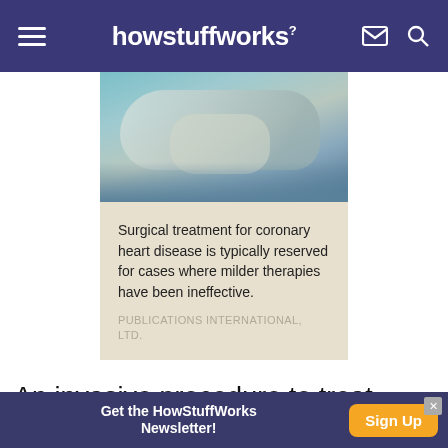howstuffworks
[Figure (photo): Medical procedure showing gloved hands treating a patient, blurred close-up photograph]
Surgical treatment for coronary heart disease is typically reserved for cases where milder therapies have been ineffective.
PUBLICATIONS INTERNATIONAL, LTD.
An invasive procedure to treat coronary heart disease may be necessary in people who have
Get the HowStuffWorks Newsletter! Sign Up